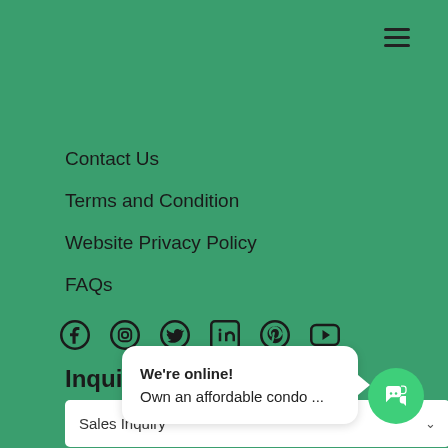[Figure (other): Hamburger menu icon (three horizontal lines) in top right corner]
Contact Us
Terms and Condition
Website Privacy Policy
FAQs
[Figure (other): Social media icons row: Facebook, Instagram, Twitter, LinkedIn, Pinterest, YouTube]
Inquiry form
Sales Inquiry
Email Address
Mobile Number
Subject
Message
Preferred Unit(s)
We're online!
Own an affordable condo ...